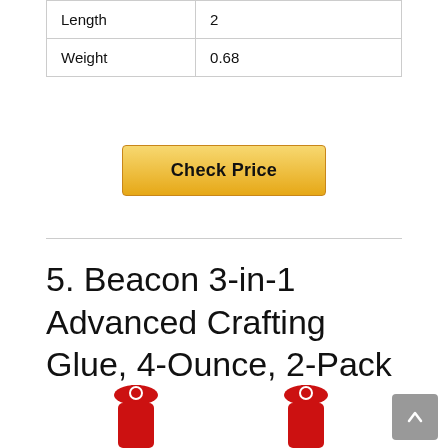| Length | 2 |
| Weight | 0.68 |
[Figure (other): Yellow 'Check Price' button]
5. Beacon 3-in-1 Advanced Crafting Glue, 4-Ounce, 2-Pack
[Figure (photo): Two red glue bottle caps visible at bottom of page]